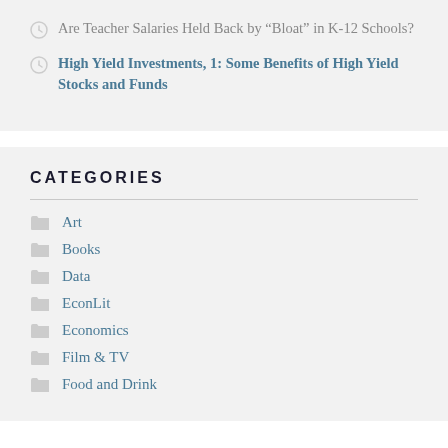Are Teacher Salaries Held Back by “Bloat” in K-12 Schools?
High Yield Investments, 1: Some Benefits of High Yield Stocks and Funds
CATEGORIES
Art
Books
Data
EconLit
Economics
Film & TV
Food and Drink